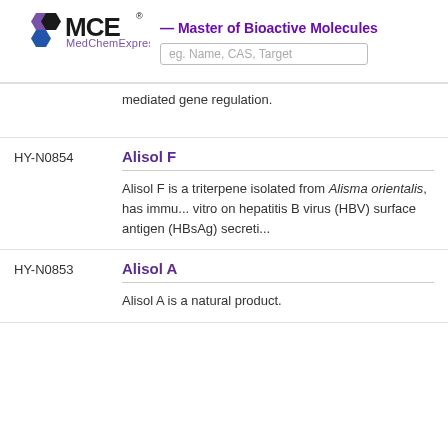MCE MedChemExpress — Master of Bioactive Molecules
mediated gene regulation.
HY-N0854
Alisol F
Alisol F is a triterpene isolated from Alisma orientalis, has immu... vitro on hepatitis B virus (HBV) surface antigen (HBsAg) secreti...
HY-N0853
Alisol A
Alisol A is a natural product.